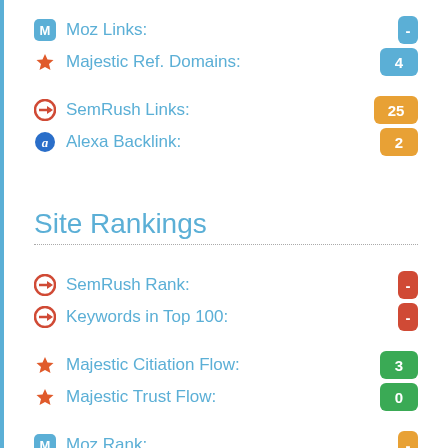Moz Links: -
Majestic Ref. Domains: 4
SemRush Links: 25
Alexa Backlink: 2
Site Rankings
SemRush Rank: -
Keywords in Top 100: -
Majestic Citiation Flow: 3
Majestic Trust Flow: 0
Moz Rank: -
Alexa Rank: -